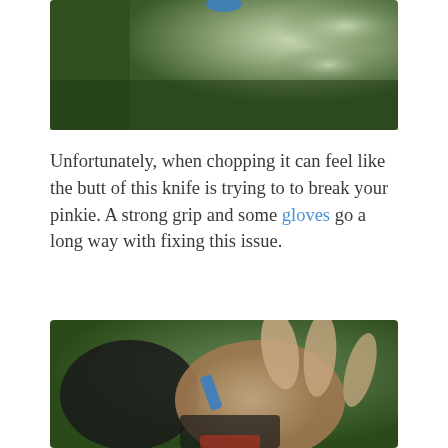[Figure (photo): Outdoor photo with green bokeh background, a hand holding a knife with a blue handle visible at top]
Unfortunately, when chopping it can feel like the butt of this knife is trying to to break your pinkie. A strong grip and some gloves go a long way with fixing this issue.
[Figure (photo): Close-up photo of hands wearing black fingerless gloves holding a knife with a blue handle, green blurred background]